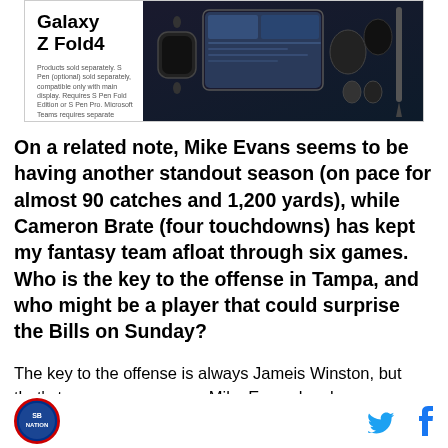[Figure (advertisement): Samsung Galaxy Z Fold4 advertisement showing the device name in bold, with product images of smartphone, earbuds, and stylus on dark background, plus fine print text about products sold separately]
On a related note, Mike Evans seems to be having another standout season (on pace for almost 90 catches and 1,200 yards), while Cameron Brate (four touchdowns) has kept my fantasy team afloat through six games. Who is the key to the offense in Tampa, and who might be a player that could surprise the Bills on Sunday?
The key to the offense is always Jameis Winston, but that's too easy an answer. Mike Evans has been
SB Nation logo | Twitter icon | Facebook icon